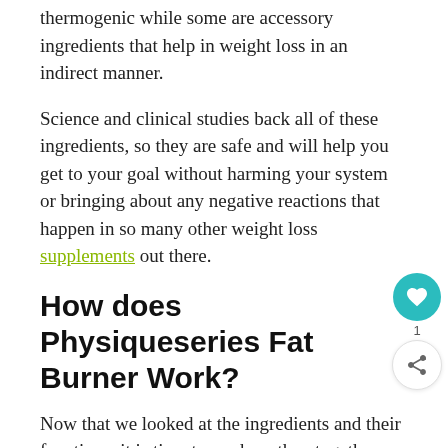thermogenic while some are accessory ingredients that help in weight loss in an indirect manner.
Science and clinical studies back all of these ingredients, so they are safe and will help you get to your goal without harming your system or bringing about any negative reactions that happen in so many other weight loss supplements out there.
How does Physiqueseries Fat Burner Work?
Now that we looked at the ingredients and their functions, it is time to see how they together work in the body to bring about weight loss.